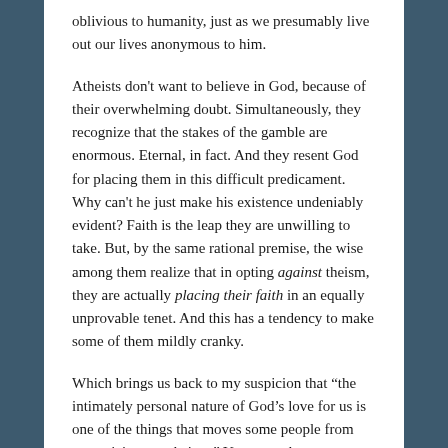oblivious to humanity, just as we presumably live out our lives anonymous to him.
Atheists don't want to believe in God, because of their overwhelming doubt. Simultaneously, they recognize that the stakes of the gamble are enormous. Eternal, in fact. And they resent God for placing them in this difficult predicament. Why can't he just make his existence undeniably evident? Faith is the leap they are unwilling to take. But, by the same rational premise, the wise among them realize that in opting against theism, they are actually placing their faith in an equally unprovable tenet. And this has a tendency to make some of them mildly cranky.
Which brings us back to my suspicion that "the intimately personal nature of God's love for us is one of the things that moves some people from agnosticism to atheism." You see, when someone deeply ponders the mystery of whether there is a Creator, they understand he would never have created a sentient being with this yearning to cleave to him, without possessing a compassion for them in return.
Agnostics walk about like spiritual zombies, pursuing